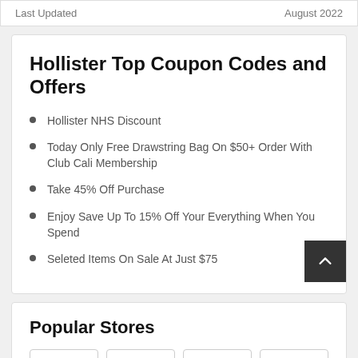Last Updated   August 2022
Hollister Top Coupon Codes and Offers
Hollister NHS Discount
Today Only Free Drawstring Bag On $50+ Order With Club Cali Membership
Take 45% Off Purchase
Enjoy Save Up To 15% Off Your Everything When You Spend
Seleted Items On Sale At Just $75
Popular Stores